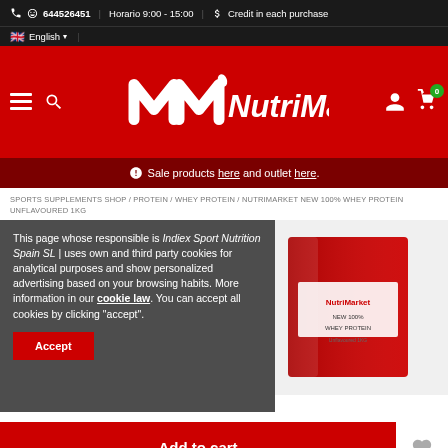644526451 | Horario 9:00 - 15:00 | Credit in each purchase
[Figure (logo): NutriMarket logo in white on red background with hamburger menu and search icon on left, user and cart icons on right]
Sale products here and outlet here.
SPORTS SUPPLEMENTS SHOP / PROTEIN / WHEY PROTEIN / NUTRIMARKET NEW 100% WHEY PROTEIN UNFLAVOURED 1KG
This page whose responsible is Indiex Sport Nutrition Spain SL | uses own and third party cookies for analytical purposes and show personalized advertising based on your browsing habits. More information in our cookie law. You can accept all cookies by clicking "accept".
[Figure (photo): Product image of NutriMarket whey protein packaging in red and white, shown at an angle]
Add to cart